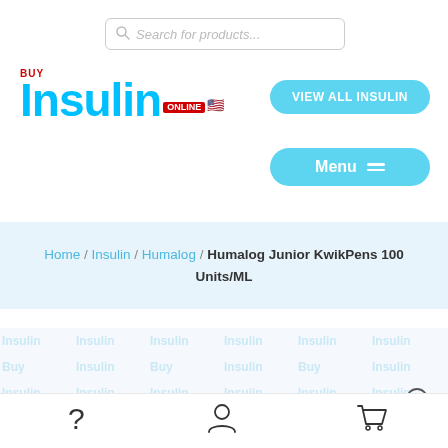[Figure (screenshot): Search bar with placeholder text 'Search for products...' and a magnifying glass icon]
[Figure (logo): Buy Insulin Online logo with blue 'Insulin' text, red 'BUY' label, red 'ONLINE' badge and US flag]
[Figure (other): Cyan pill-shaped button reading 'VIEW ALL INSULIN']
[Figure (other): Cyan pill-shaped menu button with hamburger icon reading 'Menu']
Home / Insulin / Humalog / Humalog Junior KwikPens 100 Units/ML
[Figure (photo): Partial product image of Humalog Junior KwikPen on watermarked background with zoom magnifier icon]